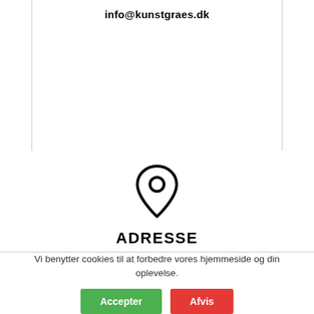info@kunstgraes.dk
[Figure (illustration): Map pin / location marker icon, black outline on white background]
ADRESSE
Her befinder vi os.
Vi benytter cookies til at forbedre vores hjemmeside og din oplevelse.
Accepter   Afvis